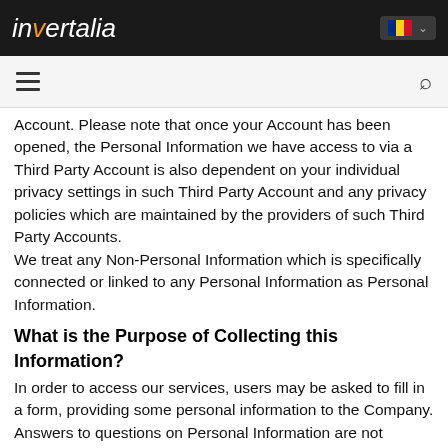invertalia
Account. Please note that once your Account has been opened, the Personal Information we have access to via a Third Party Account is also dependent on your individual privacy settings in such Third Party Account and any privacy policies which are maintained by the providers of such Third Party Accounts.
We treat any Non-Personal Information which is specifically connected or linked to any Personal Information as Personal Information.
What is the Purpose of Collecting this Information?
In order to access our services, users may be asked to fill in a form, providing some personal information to the Company. Answers to questions on Personal Information are not mandatory unless the fields are marked with an asterisk